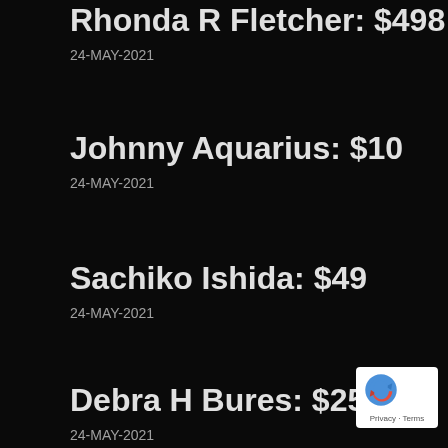Rhonda R Fletcher: $498
24-MAY-2021
Johnny Aquarius: $10
24-MAY-2021
Sachiko Ishida: $49
24-MAY-2021
Debra H Bures: $25
24-MAY-2021